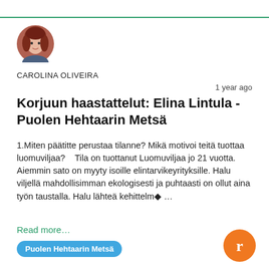[Figure (photo): Circular avatar photo of a woman with red/auburn hair]
CAROLINA OLIVEIRA
1 year ago
Korjuun haastattelut: Elina Lintula - Puolen Hehtaarin Metsä
1.Miten päätitte perustaa tilanne? Mikä motivoi teitä tuottaa luomuviljaa?    Tila on tuottanut Luomuviljaa jo 21 vuotta. Aiemmin sato on myyty isoille elintarvikeyrityksille. Halu viljellä mahdollisimman ekologisesti ja puhtaasti on ollut aina työn taustalla. Halu lähteä kehittelm♦ …
Read more…
Puolen Hehtaarin Metsä
[Figure (logo): Orange circular brand icon with white 'r' letter]